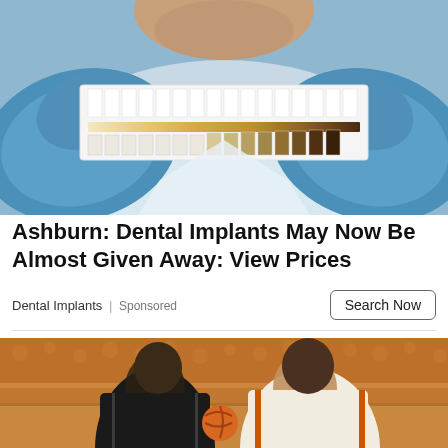[Figure (photo): Dentist in blue gloves holding a dental tooth shade guide card with color swatches]
Ashburn: Dental Implants May Now Be Almost Given Away: View Prices
Dental Implants | Sponsored
[Figure (photo): Basketball game with two players competing, one in a dark jersey and one in a white/orange Texas Longhorns jersey, with crowd in the background]